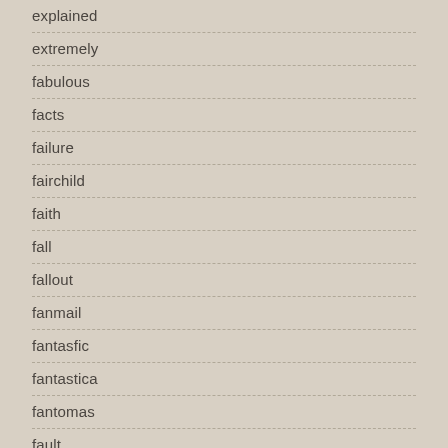explained
extremely
fabulous
facts
failure
fairchild
faith
fall
fallout
fanmail
fantasfic
fantastica
fantomas
fault
favorite
feed